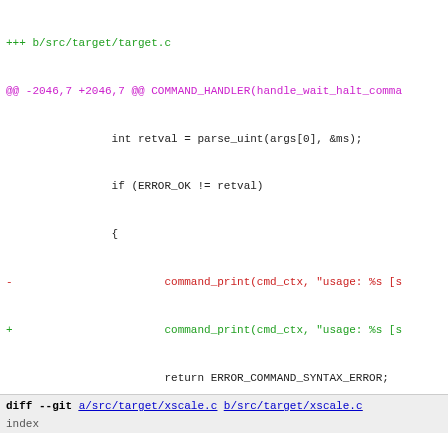+++ b/src/target/target.c
@@ -2046,7 +2046,7 @@ COMMAND_HANDLER(handle_wait_halt_comma...
                int retval = parse_uint(args[0], &ms);
                if (ERROR_OK != retval)
                {
-                       command_print(cmd_ctx, "usage: %s [s
+                       command_print(cmd_ctx, "usage: %s [s
                        return ERROR_COMMAND_SYNTAX_ERROR;
                }
                // convert seconds (given) to milliseconds (
@@ -2256,7 +2256,7 @@ COMMAND_HANDLER(handle_md_command)
                return ERROR_COMMAND_SYNTAX_ERROR;

        unsigned size = 0;
-       switch (cmd[2]) {
+       switch (CMD_NAME[2]) {
        case 'w': size = 4; break;
        case 'h': size = 2; break;
        case 'b': size = 1; break;
@@ -2333,7 +2333,7 @@ COMMAND_HANDLER(handle_mw_command)
        target_t *target = get_current_target(cmd_ctx);
        unsigned wordsize;
        uint8_t value_buf[4];
-       switch (cmd[2])
+       switch (CMD_NAME[2])
        {
                case 'w':
                        wordsize = 4;
diff --git a/src/target/xscale.c b/src/target/xscale.c
index